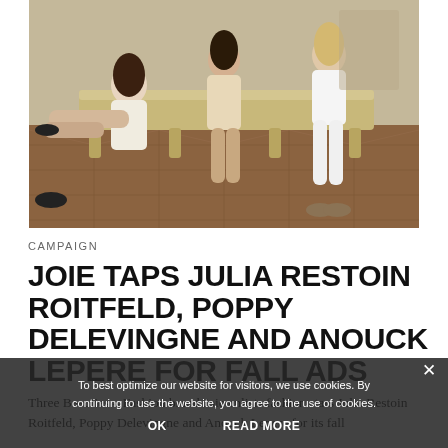[Figure (photo): Three women in light-colored outfits seated on an ornate gilded bench/chaise lounge on a parquet floor. Fashion editorial style photograph.]
CAMPAIGN
JOIE TAPS JULIA RESTOIN ROITFELD, POPPY DELEVINGNE AND ANOUCK LEPERE FOR FALL ADS
Three Beauties – Fashion brand Joie enlists fashion stars Julia Restoin Roitfeld, Poppy Delevingne and Anouck Lepere for its fall
To best optimize our website for visitors, we use cookies. By continuing to use the website, you agree to the use of cookies.
OK    READ MORE